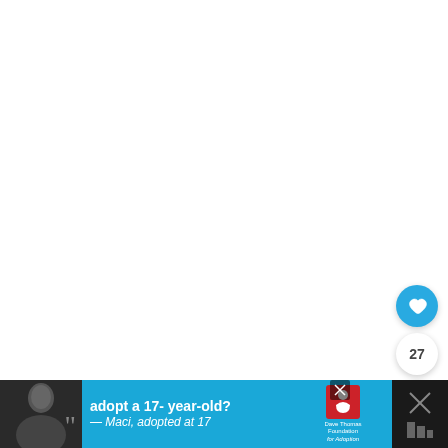[Figure (other): Social media article page with white content area, action buttons on right side (heart/like button with blue circle, count showing 27, share button), and advertisement banner at bottom for Dave Thomas Foundation for Adoption featuring a girl photo and text 'adopt a 17-year-old? — Maci, adopted at 17']
27
[Figure (other): Advertisement banner: adopt a 17-year-old? — Maci, adopted at 17. Dave Thomas Foundation for Adoption logo shown.]